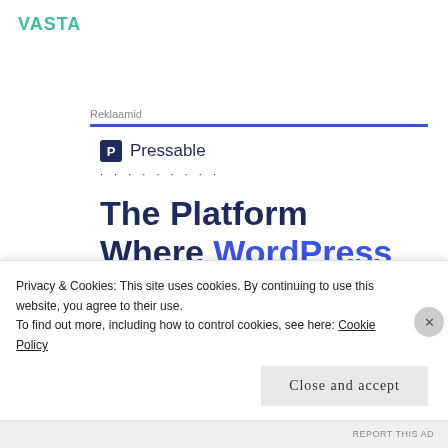VASTA
Reklaamid
[Figure (logo): Pressable logo with blue P icon and dotted separator line]
The Platform Where WordPress Works Best
SEE PRICING
Privacy & Cookies: This site uses cookies. By continuing to use this website, you agree to their use.
To find out more, including how to control cookies, see here: Cookie Policy
Close and accept